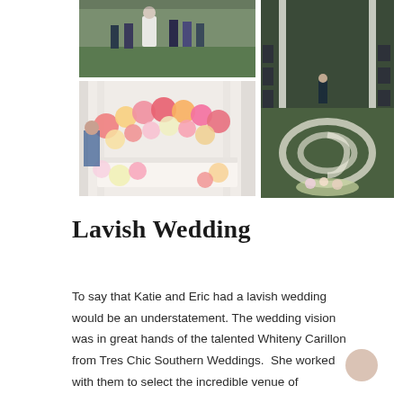[Figure (photo): Top-left photo: wedding party on green lawn with bride in white dress]
[Figure (photo): Bottom-left photo: indoor wedding reception decoration with pink and yellow balloons and floral arrangements on white backdrop]
[Figure (photo): Right tall photo: outdoor wedding ceremony aisle with flower petal spiral design on grass, guests seated in chairs]
Lavish Wedding
To say that Katie and Eric had a lavish wedding would be an understatement. The wedding vision was in great hands of the talented Whiteny Carillon from Tres Chic Southern Weddings.  She worked with them to select the incredible venue of